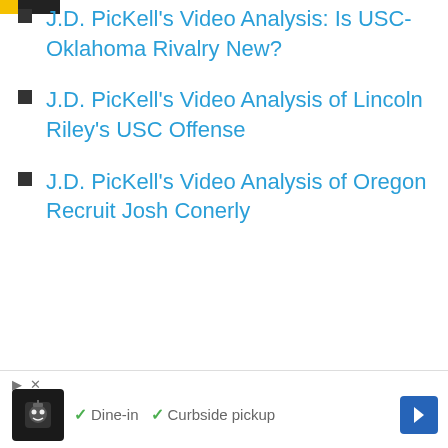J.D. PicKell’s Video Analysis: Is USC-Oklahoma Rivalry New?
J.D. PicKell’s Video Analysis of Lincoln Riley’s USC Offense
J.D. PicKell’s Video Analysis of Oregon Recruit Josh Conerly
[Figure (other): Advertisement banner showing a restaurant icon with checkmarks for Dine-in and Curbside pickup options, with a navigation arrow button]